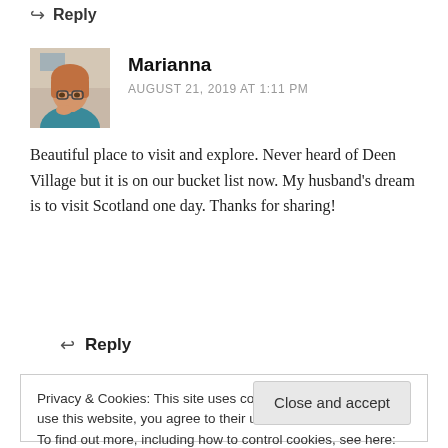↩ Reply
[Figure (photo): Avatar photo of Marianna: a woman with reddish blonde hair and glasses, wearing a teal top, leaning on her hand]
Marianna
AUGUST 21, 2019 AT 1:11 PM
Beautiful place to visit and explore. Never heard of Deen Village but it is on our bucket list now. My husband's dream is to visit Scotland one day. Thanks for sharing!
↩ Reply
Privacy & Cookies: This site uses cookies. By continuing to use this website, you agree to their use.
To find out more, including how to control cookies, see here: Cookie Policy
Close and accept
country.